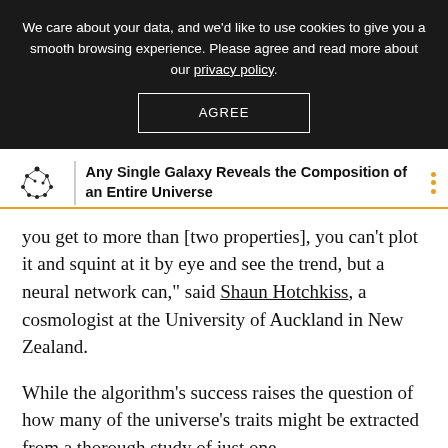We care about your data, and we'd like to use cookies to give you a smooth browsing experience. Please agree and read more about our privacy policy.
AGREE
Any Single Galaxy Reveals the Composition of an Entire Universe
you get to more than [two properties], you can't plot it and squint at it by eye and see the trend, but a neural network can," said Shaun Hotchkiss, a cosmologist at the University of Auckland in New Zealand.
While the algorithm's success raises the question of how many of the universe's traits might be extracted from a thorough study of just one